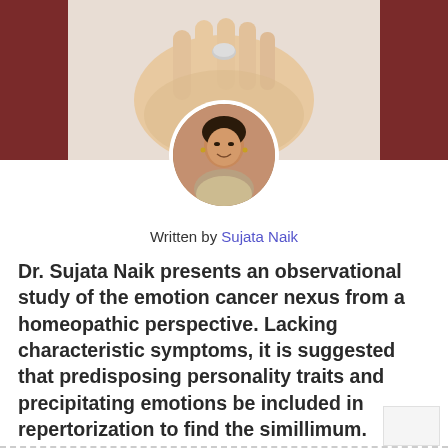[Figure (photo): Top banner image showing a hand holding a small object, with dark reddish-brown bars on left and right sides. A circular profile photo of Dr. Sujata Naik (a woman) is overlaid at the bottom center of the banner.]
Written by Sujata Naik
Dr. Sujata Naik presents an observational study of the emotion cancer nexus from a homeopathic perspective. Lacking characteristic symptoms, it is suggested that predisposing personality traits and precipitating emotions be included in repertorization to find the simillimum.